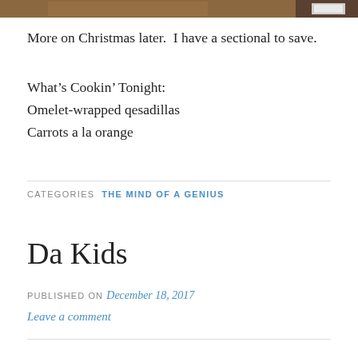[Figure (photo): Partial photo strip at top showing a wooden floor with a white object at right edge]
More on Christmas later.  I have a sectional to save.
What’s Cookin’ Tonight:
Omelet-wrapped qesadillas
Carrots a la orange
CATEGORIES  THE MIND OF A GENIUS
Da Kids
PUBLISHED ON December 18, 2017
Leave a comment